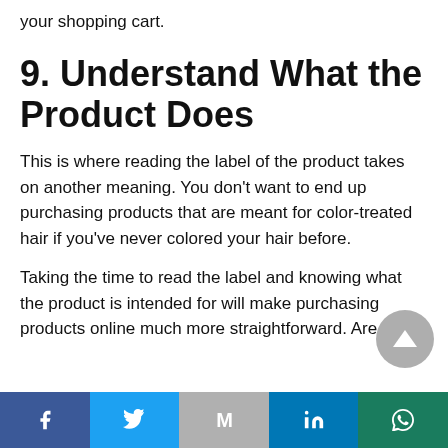your shopping cart.
9. Understand What the Product Does
This is where reading the label of the product takes on another meaning. You don't want to end up purchasing products that are meant for color-treated hair if you've never colored your hair before.
Taking the time to read the label and knowing what the product is intended for will make purchasing products online much more straightforward. Are